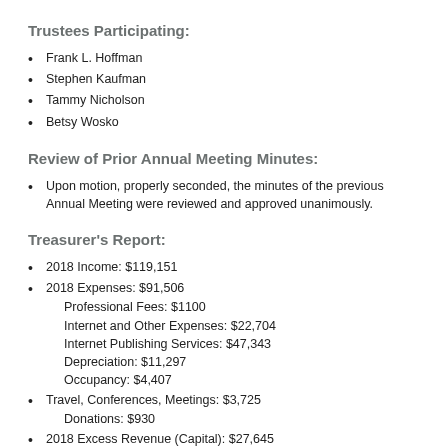Trustees Participating:
Frank L. Hoffman
Stephen Kaufman
Tammy Nicholson
Betsy Wosko
Review of Prior Annual Meeting Minutes:
Upon motion, properly seconded, the minutes of the previous Annual Meeting were reviewed and approved unanimously.
Treasurer's Report:
2018 Income: $119,151
2018 Expenses: $91,506
Professional Fees: $1100
Internet and Other Expenses: $22,704
Internet Publishing Services: $47,343
Depreciation: $11,297
Occupancy: $4,407
Travel, Conferences, Meetings: $3,725
Donations: $930
2018 Excess Revenue (Capital): $27,645
Cash in the bank as of 30 June 2019: $4,867
The Treasurers report was accepted unanimously.